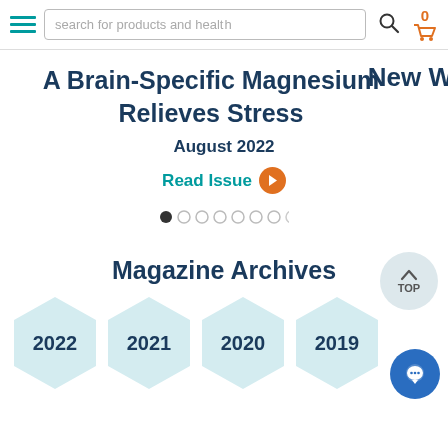search for products and health
A Brain-Specific Magnesium Relieves Stress
August 2022
Read Issue
Magazine Archives
2022
2021
2020
2019